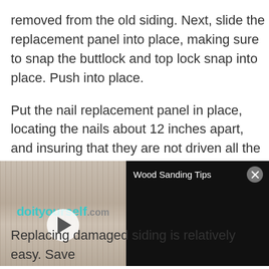removed from the old siding. Next, slide the replacement panel into place, making sure to snap the buttlock and top lock snap into place. Push into place.
Put the nail replacement panel in place, locating the nails about 12 inches apart, and insuring that they are not driven all the way in. Nails should
[Figure (screenshot): Video player overlay showing doityourself.com logo with play button on left (wood texture background), and 'Wood Sanding Tips' title with close button on black right panel]
Replacing damaged siding is relatively easy. Save